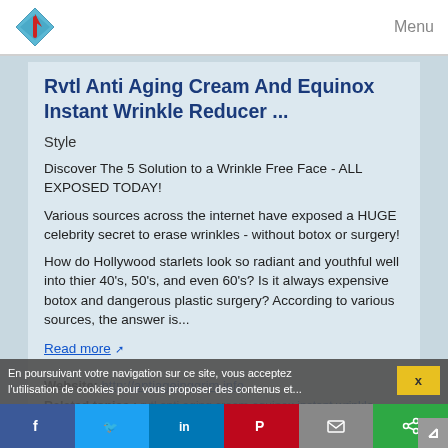Menu
Rvtl Anti Aging Cream And Equinox Instant Wrinkle Reducer ...
Style
Discover The 5 Solution to a Wrinkle Free Face - ALL EXPOSED TODAY!
Various sources across the internet have exposed a HUGE celebrity secret to erase wrinkles - without botox or surgery!
How do Hollywood starlets look so radiant and youthful well into thier 40's, 50's, and even 60's? Is it always expensive botox and dangerous plastic surgery? According to various sources, the answer is...
Read more
Website: http://antiageinggrim.info
Related topics : rvtl anti aging cream equinox instant wrinkle reducer / hyaluronic acid anti aging cream / anti aging
En poursuivant votre navigation sur ce site, vous acceptez l'utilisation de cookies pour vous proposer des contenus et...